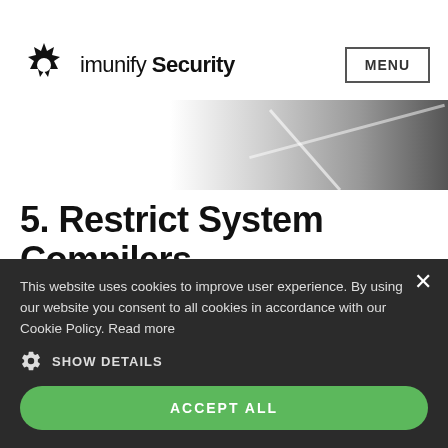imunify Security — MENU
[Figure (photo): Partial hero image showing a person's face/eyes, fading from white to dark on the right side]
5. Restrict System Compilers
In computing, a compiler is a computer program that
This website uses cookies to improve user experience. By using our website you consent to all cookies in accordance with our Cookie Policy. Read more
SHOW DETAILS
ACCEPT ALL